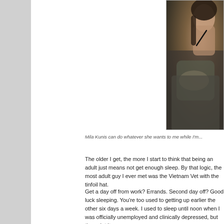[Figure (photo): Woman smiling, leaning over another person, holding a pen or makeup brush, photographed in a casual indoor setting]
Mila Kunis can do whatever she wants to me while I'm...
The older I get, the more I start to think that being an adult just means not getting enough sleep. By that logic, the most adult guy I ever met was the Vietnam Vet with the tinfoil hat.
Get a day off from work? Errands. Second day off? Good luck sleeping. You're too used to getting up earlier the other six days a week. I used to sleep until noon when I was officially unemployed and clinically depressed, but the point it... anymore.